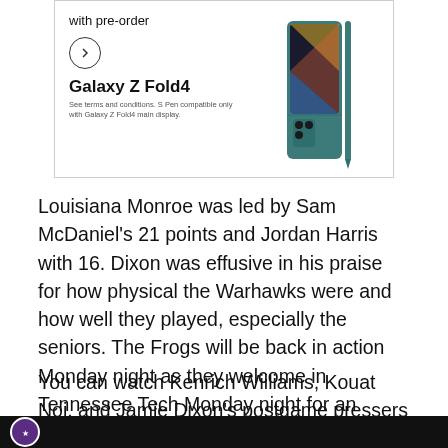[Figure (advertisement): Samsung Galaxy Z Fold4 advertisement showing the phone with S Pen, text 'with pre-order', a circle arrow button, bold text 'Galaxy Z Fold4', and disclaimer about S Pen compatibility.]
Louisiana Monroe was led by Sam McDaniel's 21 points and Jordan Harris with 16. Dixon was effusive in his praise for how physical the Warhawks were and how well they played, especially the seniors. The Frogs will be back in action Monday night as they welcome in Tennessee Tech Monday night for an 8:00pm tip.
You can watch Kenrich Williams, Kouat Noi, and Jamie Dixon's postgame pressers below:
[Figure (screenshot): Dark video bar at bottom of page with a circular purple logo icon on the left.]